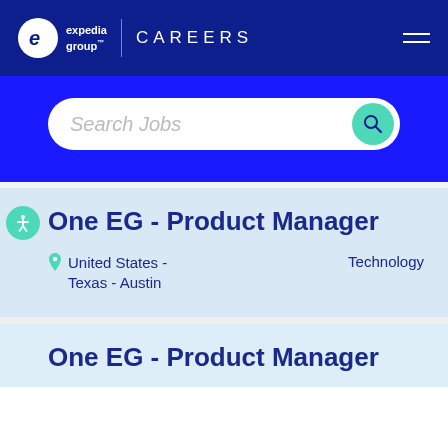expedia group CAREERS
[Figure (screenshot): Search jobs input bar with teal search button on blue background]
One EG - Product Manager
United States - Texas - Austin   Technology
One EG - Product Manager